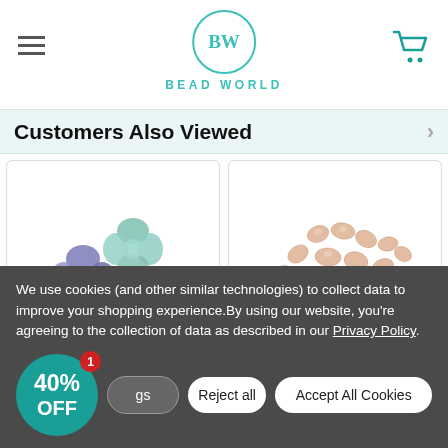BEAD WORLD
Customers Also Viewed
[Figure (photo): Three fluorite flower-shaped beads in purple and teal green colors]
[Figure (photo): A pile of peach/pink teardrop-shaped gemstone beads]
We use cookies (and other similar technologies) to collect data to improve your shopping experience.By using our website, you're agreeing to the collection of data as described in our Privacy Policy.
40% OFF
Reject all
Accept All Cookies